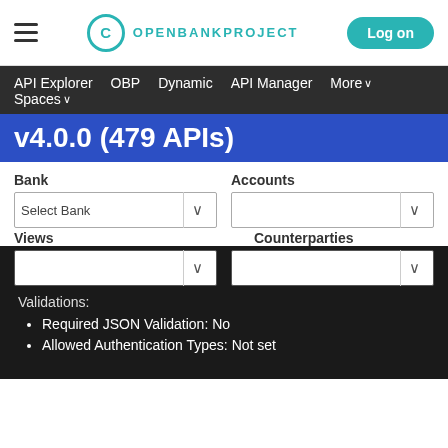OPENBANKPROJECT — Log on
API Explorer   OBP   Dynamic   API Manager   More ∨   Spaces ∨
v4.0.0 (479 APIs)
Bank
Accounts
Select Bank
Views
Counterparties
Validations:
Required JSON Validation: No
Allowed Authentication Types: Not set